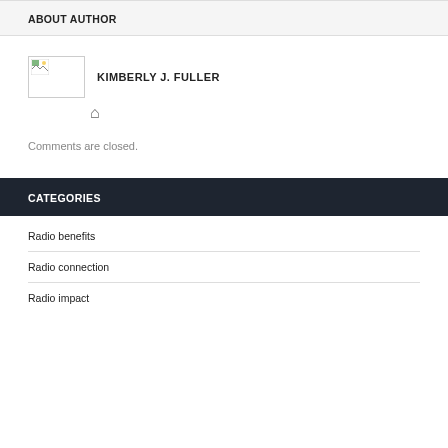ABOUT AUTHOR
KIMBERLY J. FULLER
Comments are closed.
CATEGORIES
Radio benefits
Radio connection
Radio impact